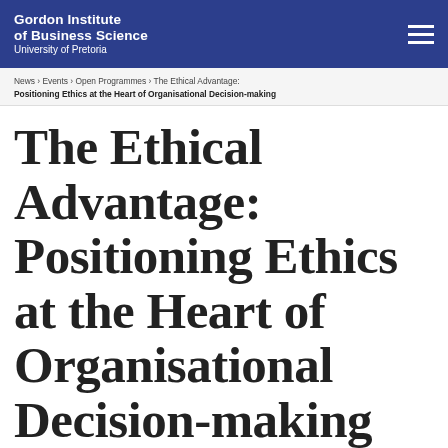Gordon Institute of Business Science University of Pretoria
News > Events > Open Programmes > The Ethical Advantage: Positioning Ethics at the Heart of Organisational Decision-making
The Ethical Advantage: Positioning Ethics at the Heart of Organisational Decision-making
Ethical Fitness Masterclass